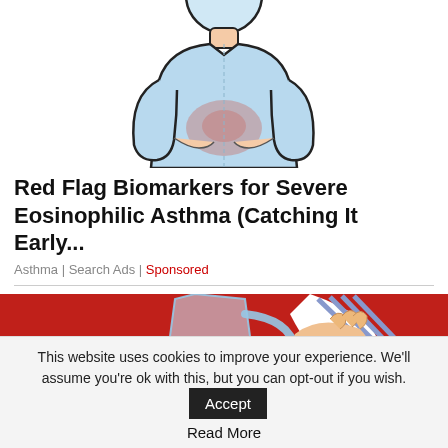[Figure (illustration): Cartoon illustration of a person in a light blue sweater holding their stomach area, with a reddish highlight indicating pain or discomfort in the abdominal region.]
Red Flag Biomarkers for Severe Eosinophilic Asthma (Catching It Early...
Asthma | Search Ads | Sponsored
[Figure (photo): Photo of a person in a red outfit pouring water with a lemon slice from a large glass pitcher into a glass.]
This website uses cookies to improve your experience. We'll assume you're ok with this, but you can opt-out if you wish. Accept
Read More